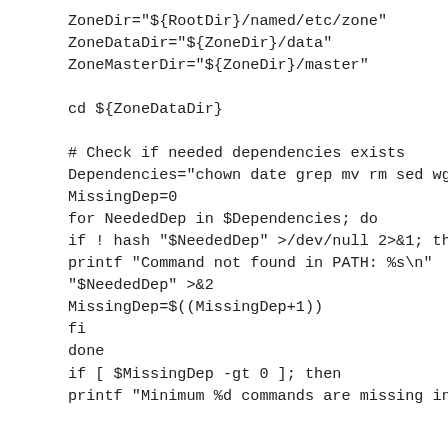ZoneDir="${RootDir}/named/etc/zone"
ZoneDataDir="${ZoneDir}/data"
ZoneMasterDir="${ZoneDir}/master"

cd ${ZoneDataDir}

# Check if needed dependencies exists
Dependencies="chown date grep mv rm sed wget"
MissingDep=0
for NeededDep in $Dependencies; do
if ! hash "$NeededDep" >/dev/null 2>&1; then
printf "Command not found in PATH: %s\n"
"$NeededDep" >&2
MissingDep=$((MissingDep+1))
fi
done
if [ $MissingDep -gt 0 ]; then
printf "Minimum %d commands are missing in PATH,